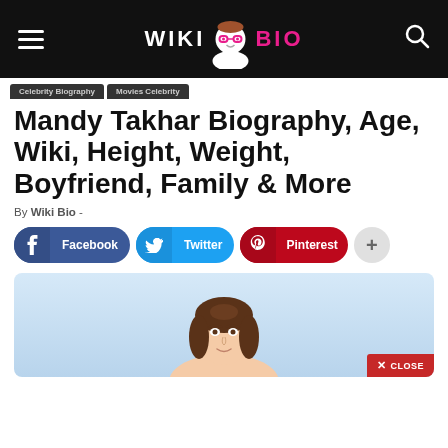Wiki Bio
Celebrity Biography   Movies Celebrity
Mandy Takhar Biography, Age, Wiki, Height, Weight, Boyfriend, Family & More
By Wiki Bio -
[Figure (infographic): Social share buttons: Facebook, Twitter, Pinterest, and a plus button]
[Figure (photo): Photo of Mandy Takhar from shoulders up, long dark hair, against a light blue background. A red CLOSE button is overlaid in the bottom right corner.]